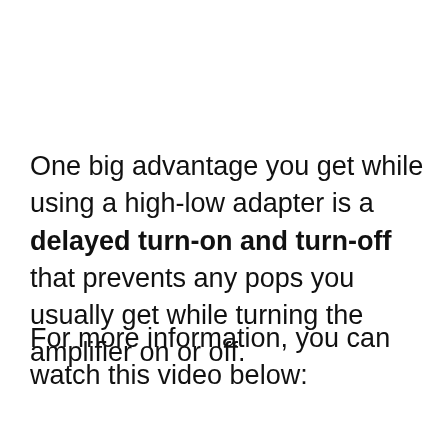One big advantage you get while using a high-low adapter is a delayed turn-on and turn-off that prevents any pops you usually get while turning the amplifier on or off.
For more information, you can watch this video below: